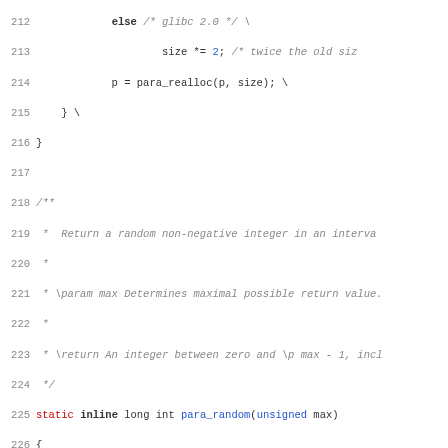[Figure (screenshot): Source code listing showing C code lines 212-243 with syntax highlighting. Lines include an else branch, para_realloc call, a Doxygen comment block for para_random function, the function definition, ROUND_UP and ARRAY_SIZE macro definitions, and a Doxygen comment for an isspace wrapper.]